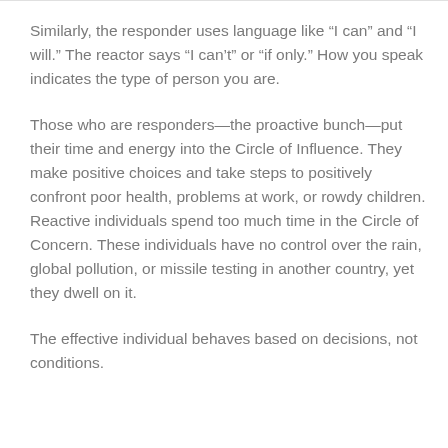Similarly, the responder uses language like “I can” and “I will.” The reactor says “I can’t” or “if only.” How you speak indicates the type of person you are.
Those who are responders—the proactive bunch—put their time and energy into the Circle of Influence. They make positive choices and take steps to positively confront poor health, problems at work, or rowdy children. Reactive individuals spend too much time in the Circle of Concern. These individuals have no control over the rain, global pollution, or missile testing in another country, yet they dwell on it.
The effective individual behaves based on decisions, not conditions.